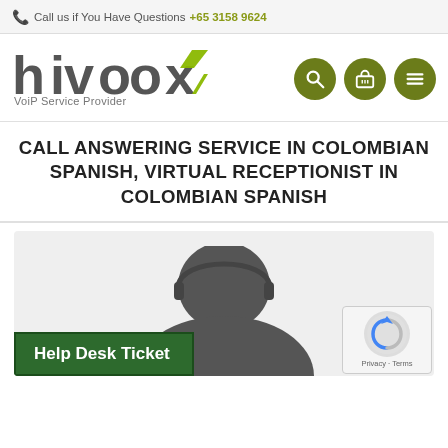Call us if You Have Questions +65 3158 9624
[Figure (logo): Hivoox VoiP Service Provider logo with green accent on letter x]
CALL ANSWERING SERVICE IN COLOMBIAN SPANISH, VIRTUAL RECEPTIONIST IN COLOMBIAN SPANISH
[Figure (photo): Person silhouette with headset representing a virtual receptionist call center agent, with Help Desk Ticket button overlay]